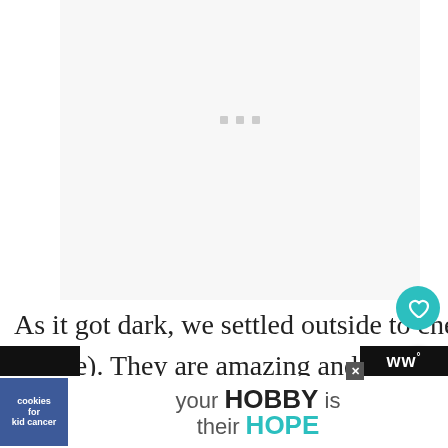[Figure (photo): Large image placeholder area with light gray background and three small gray square dots near top center, representing a loading or placeholder image region]
As it got dark, we settled outside to check out the lights (my pictures do them justice). They are amazing and
[Figure (screenshot): What's Next UI element showing a circular avatar photo of a person and text: WHAT'S NEXT → My first time]
[Figure (screenshot): Advertisement banner: cookies for kid cancer logo on left, center text reads 'your HOBBY is their HOPE' with a close button X, dark strips on left and right edges with WW logo on right]